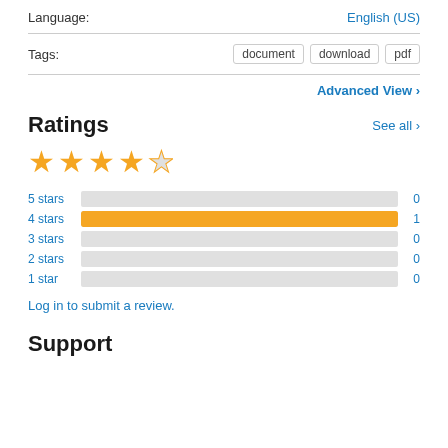Language: English (US)
Tags: document  download  pdf
Advanced View
Ratings
[Figure (other): 4 filled gold stars and 1 empty star representing a 4-star rating]
[Figure (bar-chart): Ratings breakdown]
Log in to submit a review.
Support